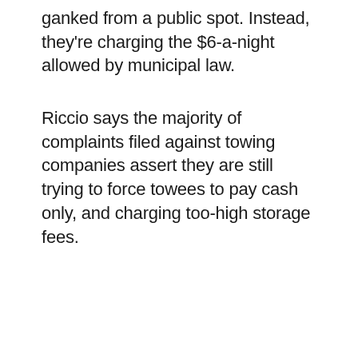ganked from a public spot. Instead, they're charging the $6-a-night allowed by municipal law.
Riccio says the majority of complaints filed against towing companies assert they are still trying to force towees to pay cash only, and charging too-high storage fees.